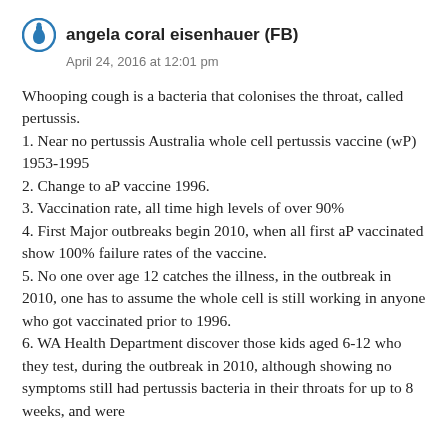angela coral eisenhauer (FB)
April 24, 2016 at 12:01 pm
Whooping cough is a bacteria that colonises the throat, called pertussis.
1. Near no pertussis Australia whole cell pertussis vaccine (wP) 1953-1995
2. Change to aP vaccine 1996.
3. Vaccination rate, all time high levels of over 90%
4. First Major outbreaks begin 2010, when all first aP vaccinated show 100% failure rates of the vaccine.
5. No one over age 12 catches the illness, in the outbreak in 2010, one has to assume the whole cell is still working in anyone who got vaccinated prior to 1996.
6. WA Health Department discover those kids aged 6-12 who they test, during the outbreak in 2010, although showing no symptoms still had pertussis bacteria in their throats for up to 8 weeks, and were